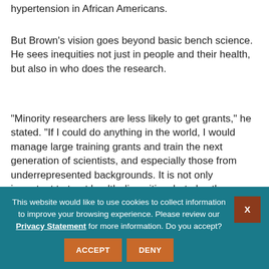hypertension in African Americans.
But Brown's vision goes beyond basic bench science. He sees inequities not just in people and their health, but also in who does the research.
“Minority researchers are less likely to get grants,” he stated. “If I could do anything in the world, I would manage large training grants and train the next generation of scientists, and especially those from underrepresented backgrounds. It is not only important to treat health disparities, but also the
This website would like to use cookies to collect information to improve your browsing experience. Please review our Privacy Statement for more information. Do you accept?